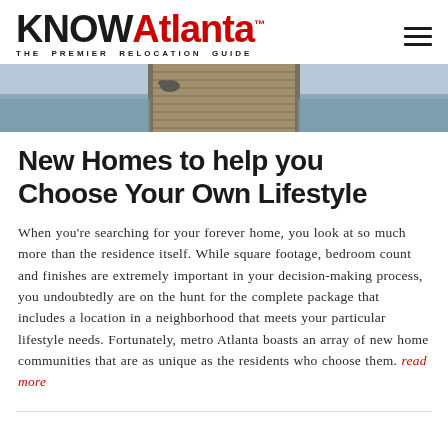KNOWAtlanta™ — THE PREMIER RELOCATION GUIDE
[Figure (photo): Hero image of a wooden dock/pier extending over water, viewed from above at an angle]
New Homes to help you Choose Your Own Lifestyle
When you're searching for your forever home, you look at so much more than the residence itself. While square footage, bedroom count and finishes are extremely important in your decision-making process, you undoubtedly are on the hunt for the complete package that includes a location in a neighborhood that meets your particular lifestyle needs. Fortunately, metro Atlanta boasts an array of new home communities that are as unique as the residents who choose them. read more